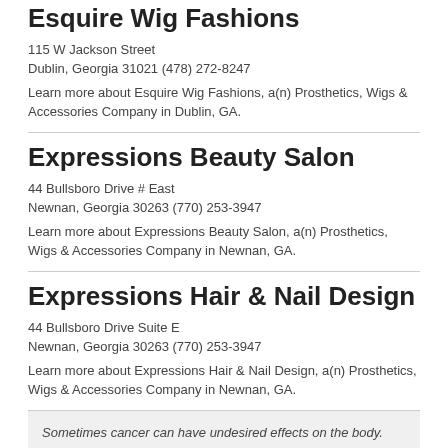Esquire Wig Fashions
115 W Jackson Street
Dublin, Georgia 31021 (478) 272-8247
Learn more about Esquire Wig Fashions, a(n) Prosthetics, Wigs & Accessories Company in Dublin, GA.
Expressions Beauty Salon
44 Bullsboro Drive # East
Newnan, Georgia 30263 (770) 253-3947
Learn more about Expressions Beauty Salon, a(n) Prosthetics, Wigs & Accessories Company in Newnan, GA.
Expressions Hair & Nail Design
44 Bullsboro Drive Suite E
Newnan, Georgia 30263 (770) 253-3947
Learn more about Expressions Hair & Nail Design, a(n) Prosthetics, Wigs & Accessories Company in Newnan, GA.
Sometimes cancer can have undesired effects on the body. Below are some listings of Prosthetics, Wigs & Accessories Companies in Georgia (GA) that can help restore your appearance. Browse our